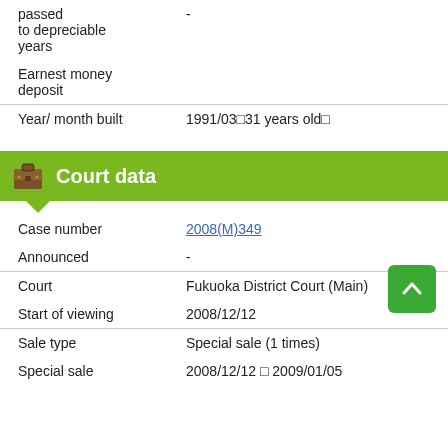| passed
to depreciable
years | - |
| Earnest money
deposit |  |
| Year/ month built | 1991/03 31 years old  |
Court data
| Case number | 2008(M)349 |
| Announced | - |
| Court | Fukuoka District Court (Main) |
| Start of viewing | 2008/12/12 |
| Sale type | Special sale (1 times) |
| Special sale | 2008/12/12   2009/01/05 |